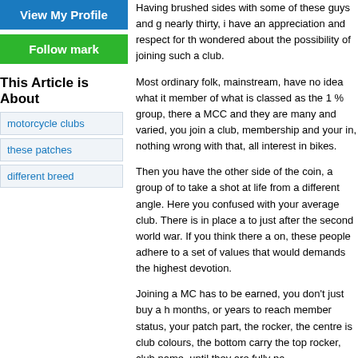[Figure (other): Blue 'View My Profile' button]
[Figure (other): Green 'Follow mark' button]
This Article is About
motorcycle clubs
these patches
different breed
Having brushed sides with some of these guys and g nearly thirty, i have an appreciation and respect for th wondered about the possibility of joining such a club.
Most ordinary folk, mainstream, have no idea what it member of what is classed as the 1 % group, there a MCC and they are many and varied, you join a club, membership and your in, nothing wrong with that, all interest in bikes.
Then you have the other side of the coin, a group of to take a shot at life from a different angle. Here you confused with your average club. There is in place a to just after the second world war. If you think there a on, these people adhere to a set of values that would demands the highest devotion.
Joining a MC has to be earned, you don't just buy a h months, or years to reach member status, your patch part, the rocker, the centre is club colours, the bottom carry the top rocker, club name, until they are fully pa
The importance and value of these patches should n if necessary. Most folk would just look and pay little a denim cut off,  motorcycle club patches to some folk, clubs and the members of them as I have done in th